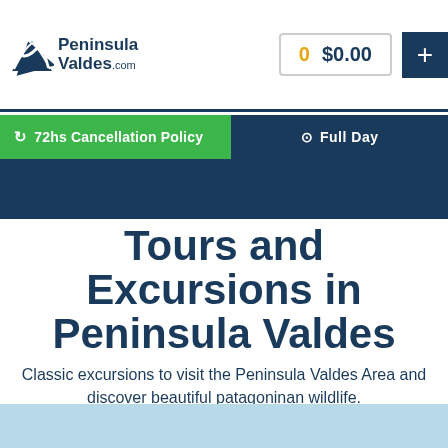Peninsula Valdes.com | 0 $0.00 | +
72hs Cancellation Policy | Full Day
Tours and Excursions in Peninsula Valdes
Classic excursions to visit the Peninsula Valdes Area and discover beautiful patagoninan wildlife.
[Figure (photo): Light blue sky/water background image at bottom of page]